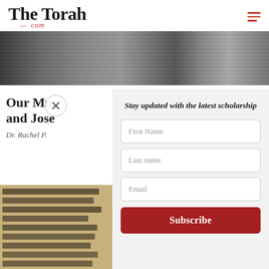The Torah .com
[Figure (photo): Black and white historical illustration showing robed figures in a ceremonial or temple setting]
Stay updated with the latest scholarship
First Name
Last name
Email
Subscribe
Our Mur and Jose
Dr. Rachel P.
[Figure (photo): Ancient Hebrew manuscript text on yellowed parchment]